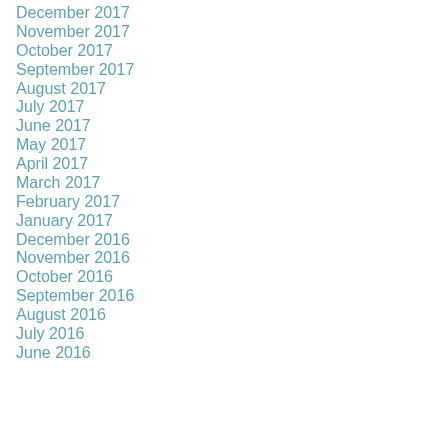December 2017
November 2017
October 2017
September 2017
August 2017
July 2017
June 2017
May 2017
April 2017
March 2017
February 2017
January 2017
December 2016
November 2016
October 2016
September 2016
August 2016
July 2016
June 2016